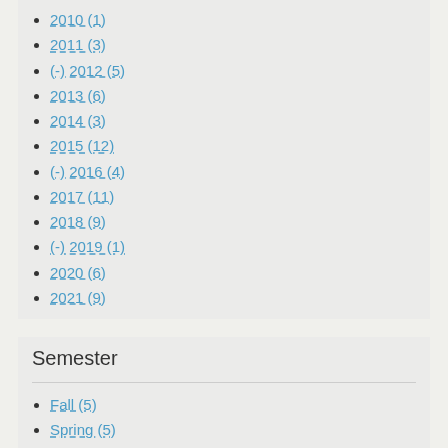2010 (1)
2011 (3)
(-) 2012 (5)
2013 (6)
2014 (3)
2015 (12)
(-) 2016 (4)
2017 (11)
2018 (9)
(-) 2019 (1)
2020 (6)
2021 (9)
Semester
Fall (5)
Spring (5)
Summer (0)
Major